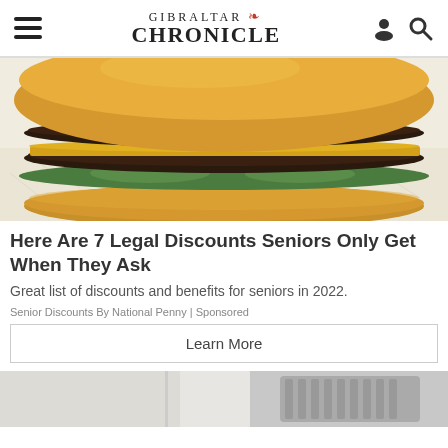GIBRALTAR CHRONICLE
[Figure (photo): Close-up photo of a large double-patty burger with cheese, lettuce, on crinkled white/red wrapper paper]
Here Are 7 Legal Discounts Seniors Only Get When They Ask
Great list of discounts and benefits for seniors in 2022.
Senior Discounts By National Penny | Sponsored
Learn More
[Figure (photo): Partial view of what appears to be a metallic fan or ventilation device on a light background]